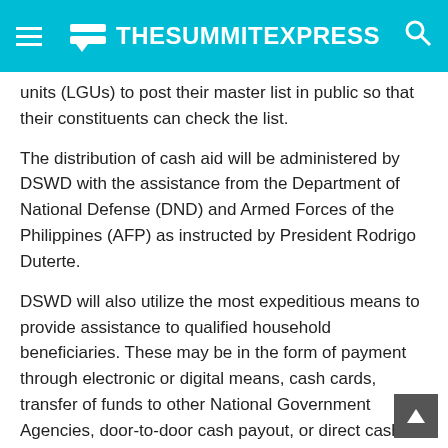TheSummitExpress
units (LGUs) to post their master list in public so that their constituents can check the list.
The distribution of cash aid will be administered by DSWD with the assistance from the Department of National Defense (DND) and Armed Forces of the Philippines (AFP) as instructed by President Rodrigo Duterte.
DSWD will also utilize the most expeditious means to provide assistance to qualified household beneficiaries. These may be in the form of payment through electronic or digital means, cash cards, transfer of funds to other National Government Agencies, door-to-door cash payout, or direct cash.
Register through ReliefAgad app